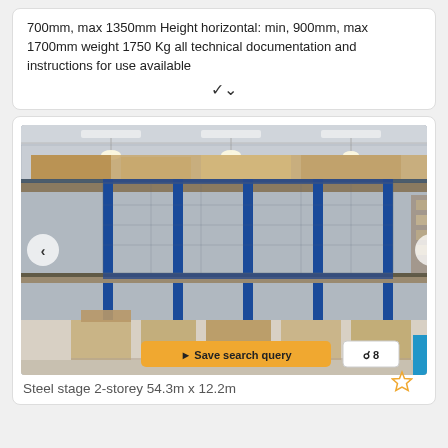700mm, max 1350mm Height horizontal: min, 900mm, max 1700mm weight 1750 Kg all technical documentation and instructions for use available
[Figure (photo): Interior photo of a large warehouse with blue steel 2-storey mezzanine racking system. Multiple blue vertical columns support upper and lower levels loaded with pallets and cardboard boxes. Fluorescent lighting on the ceiling. Navigation arrows on left and right sides of image. Save search query button and zoom/image count button overlay at bottom.]
Steel stage 2-storey 54.3m x 12.2m